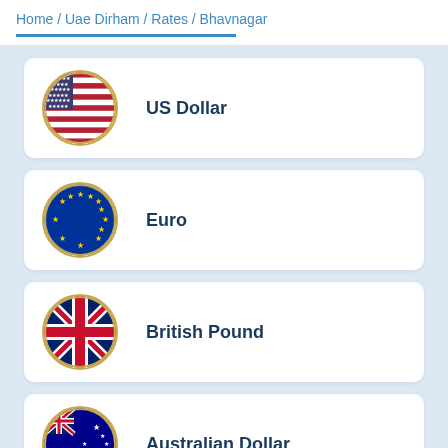Home / Uae Dirham / Rates / Bhavnagar
US Dollar
Euro
British Pound
Australian Dollar